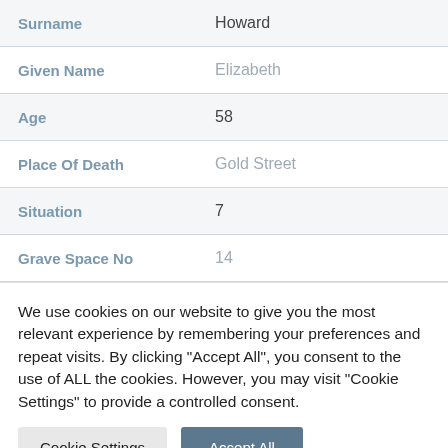| Field | Value |
| --- | --- |
| Surname | Howard |
| Given Name | Elizabeth |
| Age | 58 |
| Place Of Death | Gold Street |
| Situation | 7 |
| Grave Space No | 14 |
We use cookies on our website to give you the most relevant experience by remembering your preferences and repeat visits. By clicking "Accept All", you consent to the use of ALL the cookies. However, you may visit "Cookie Settings" to provide a controlled consent.